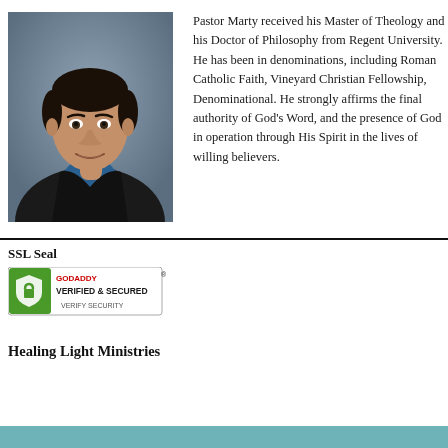[Figure (photo): Portrait photo of Pastor Marty, a middle-aged man with dark hair wearing a blue shirt and dark jacket, against a grey background]
Pastor Marty received his Master of Theology and his Doctor of Philosophy from Regent University. He has been in denominations, including Roman Catholic Faith, Vineyard Christian Fellowship, Denominational. He strongly affirms the final authority of God's Word, and the presence of God in operation through His Spirit in the lives of willing believers.
SSL Seal
[Figure (logo): GoDaddy Verified & Secured SSL seal badge with green shield icon and 'VERIFY SECURITY' text]
Healing Light Ministries